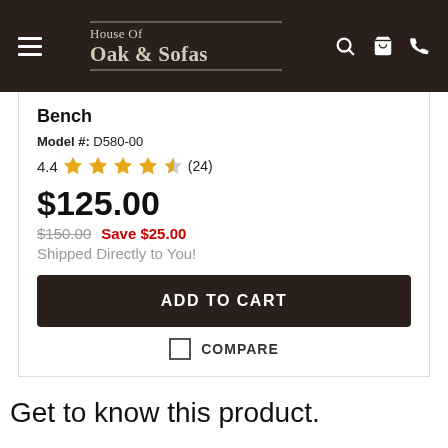House Of Oak & Sofas
Bench
Model #: D580-00
4.4 ★★★★☆ (24)
$125.00
$150.00  Save $25.00
Shipped Directly to You!
ADD TO CART
COMPARE
Get to know this product.